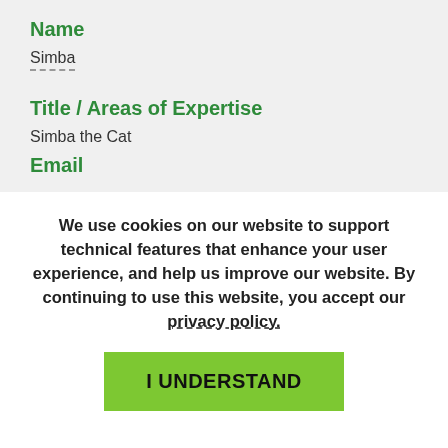Name
Simba
Title / Areas of Expertise
Simba the Cat
Email
We use cookies on our website to support technical features that enhance your user experience, and help us improve our website. By continuing to use this website, you accept our privacy policy.
I UNDERSTAND